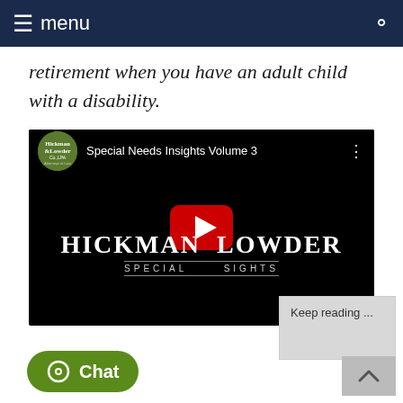menu
retirement when you have an adult child with a disability.
[Figure (screenshot): YouTube video thumbnail for 'Special Needs Insights Volume 3' by Hickman & Lowder Co. LPA, showing the firm name overlay on a black background with a YouTube play button in the center.]
Keep reading ...
Chat